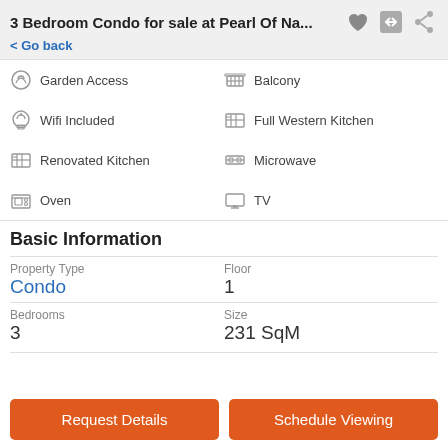3 Bedroom Condo for sale at Pearl Of Na...
< Go back
Garden Access
Balcony
Wifi Included
Full Western Kitchen
Renovated Kitchen
Microwave
Oven
TV
Basic Information
| Property Type | Floor | Bedrooms | Size |
| --- | --- | --- | --- |
| Condo | 1 | 3 | 231 SqM |